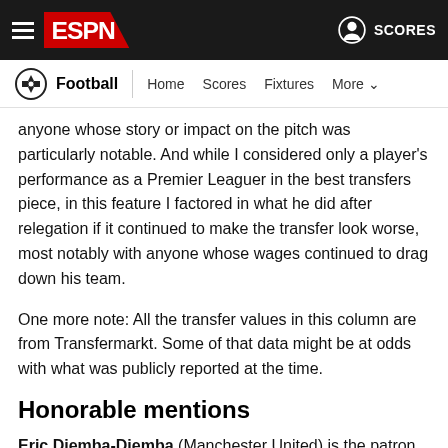ESPN - Football | Home  Scores  Fixtures  More
anyone whose story or impact on the pitch was particularly notable. And while I considered only a player's performance as a Premier Leaguer in the best transfers piece, in this feature I factored in what he did after relegation if it continued to make the transfer look worse, most notably with anyone whose wages continued to drag down his team.
One more note: All the transfer values in this column are from Transfermarkt. Some of that data might be at odds with what was publicly reported at the time.
Honorable mentions
Eric Djemba-Djemba (Manchester United) is the patron saint of these sorts of lists, but I really think it's more about his name